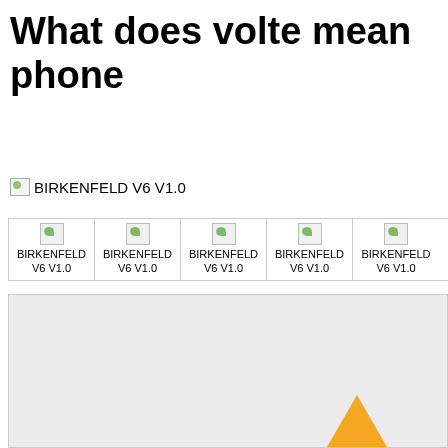What does volte mean phone
[Figure (illustration): Broken image placeholder with text: BIRKENFELD V6 V1.0]
[Figure (illustration): Row of 5 broken image thumbnails each labeled BIRKENFELD V6 V1.0]
[Figure (illustration): Large light gray box with an orange warning triangle at the bottom right corner]